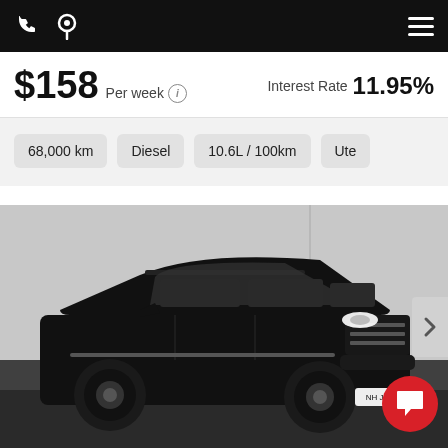Navigation bar with phone, location, and menu icons
$158 Per week (i)   Interest Rate 11.95%
68,000 km
Diesel
10.6L / 100km
Ute
[Figure (photo): Black SUV (Haval H6 or similar) photographed in a studio, three-quarter front view, on dark floor with light grey wall background. Red chat bubble icon in bottom right corner.]